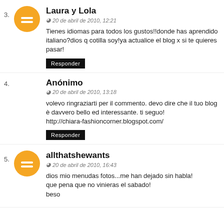3. Laura y Lola
© 20 de abril de 2010, 12:21
Tienes idiomas para todos los gustos!!donde has aprendido italiano?dios q cotilla soy!ya actualice el blog x si te quieres pasar!
Responder
4. Anónimo
© 20 de abril de 2010, 13:18
volevo ringraziarti per il commento. devo dire che il tuo blog è davvero bello ed interessante. ti seguo! http://chiara-fashioncorner.blogspot.com/
Responder
5. allthatshewants
© 20 de abril de 2010, 16:43
dios mio menudas fotos...me han dejado sin habla! que pena que no vinieras el sabado! beso